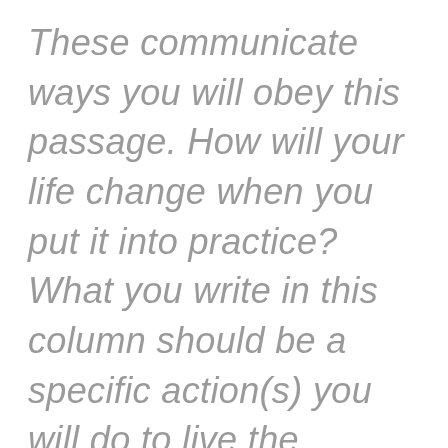These communicate ways you will obey this passage. How will your life change when you put it into practice? What you write in this column should be a specific action(s) you will do to live the teaching of this passage you have written,